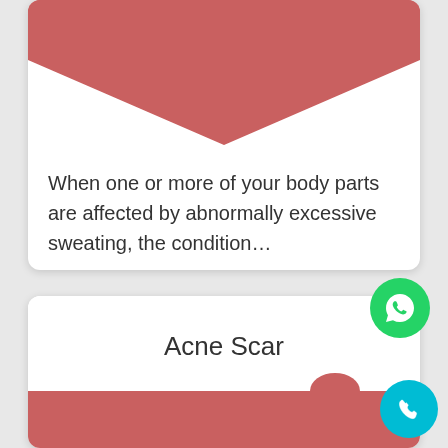[Figure (screenshot): Mobile app card with red chevron/V-shape decorative header and body text about sweating condition]
When one or more of your body parts are affected by abnormally excessive sweating, the condition…
[Figure (screenshot): Second mobile app card showing 'Acne Scar' title with red bottom section and up-arrow, WhatsApp icon, and phone icon buttons]
Acne Scar